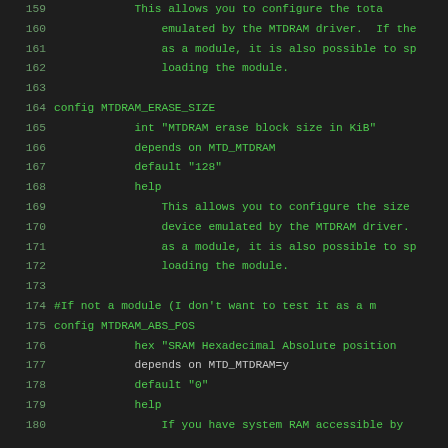[Figure (screenshot): Source code viewer showing lines 159-180 of a Linux kernel Kconfig file for MTDRAM driver configuration, dark background with green monospace text and line numbers]